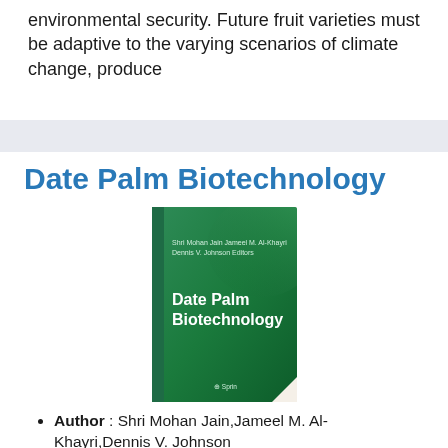environmental security. Future fruit varieties must be adaptive to the varying scenarios of climate change, produce
Date Palm Biotechnology
[Figure (photo): Book cover of 'Date Palm Biotechnology' edited by Shri Mohan Jain, Jameel M. Al-Khayri, Dennis V. Johnson, published by Springer. The cover features a green background with the editors' names at the top and the book title in white text.]
Author : Shri Mohan Jain,Jameel M. Al-Khayri,Dennis V. Johnson